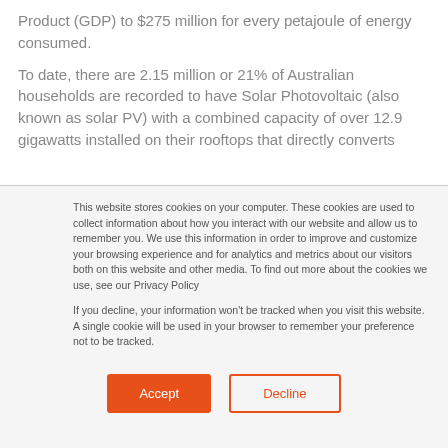Product (GDP) to $275 million for every petajoule of energy consumed.
To date, there are 2.15 million or 21% of Australian households are recorded to have Solar Photovoltaic (also known as solar PV) with a combined capacity of over 12.9 gigawatts installed on their rooftops that directly converts
This website stores cookies on your computer. These cookies are used to collect information about how you interact with our website and allow us to remember you. We use this information in order to improve and customize your browsing experience and for analytics and metrics about our visitors both on this website and other media. To find out more about the cookies we use, see our Privacy Policy

If you decline, your information won't be tracked when you visit this website. A single cookie will be used in your browser to remember your preference not to be tracked.